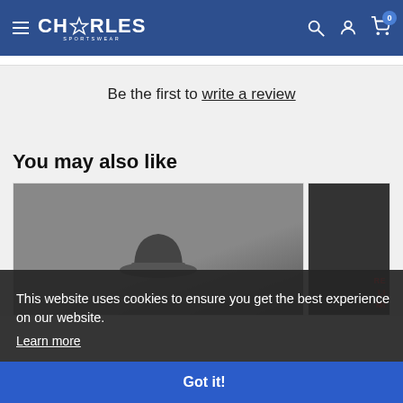Charles Sportswear — navigation header with logo, hamburger menu, search, account, and cart icons (badge: 0)
Be the first to write a review
You may also like
[Figure (screenshot): Two product cards partially visible, left card shows a dark hat, right card shows partial dark garment with red text]
This website uses cookies to ensure you get the best experience on our website.
Learn more
Got it!